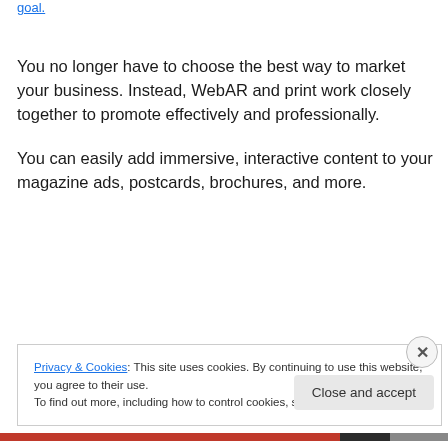goal.
You no longer have to choose the best way to market your business. Instead, WebAR and print work closely together to promote effectively and professionally.
You can easily add immersive, interactive content to your magazine ads, postcards, brochures, and more.
Privacy & Cookies: This site uses cookies. By continuing to use this website, you agree to their use.
To find out more, including how to control cookies, see here: Cookie Policy
Close and accept